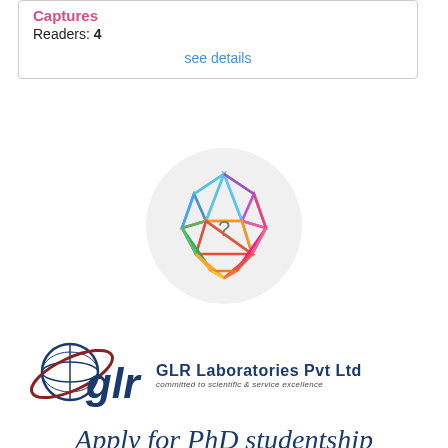Captures
Readers: 4
see details
[Figure (logo): Colorful geometric gem/icosahedron icon with a question mark in the center, displayed inside a light gray circle]
[Figure (logo): GLR Laboratories Pvt Ltd logo with globe and orbital ring icon, styled 'glr' lettering, tagline: committed to scientific & service excellence]
Apply for PhD studentship